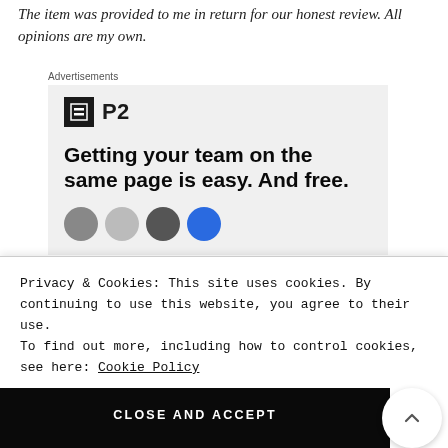The item was provided to me in return for our honest review. All opinions are my own.
[Figure (advertisement): P2 advertisement with logo and headline 'Getting your team on the same page is easy. And free.' with avatar circles at the bottom.]
Privacy & Cookies: This site uses cookies. By continuing to use this website, you agree to their use. To find out more, including how to control cookies, see here: Cookie Policy
CLOSE AND ACCEPT